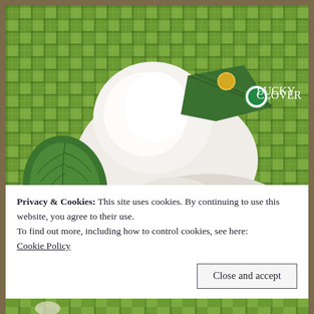[Figure (photo): A white fluffy stuffed animal or dog wearing a green plaid hat with a shamrock badge, lying on a green plaid fabric background with a decorative green cabbage leaf.]
Privacy & Cookies: This site uses cookies. By continuing to use this website, you agree to their use.
To find out more, including how to control cookies, see here: Cookie Policy
Close and accept
[Figure (photo): Bottom strip of a photo showing green plaid fabric and what appears to be a small figurine or toy.]